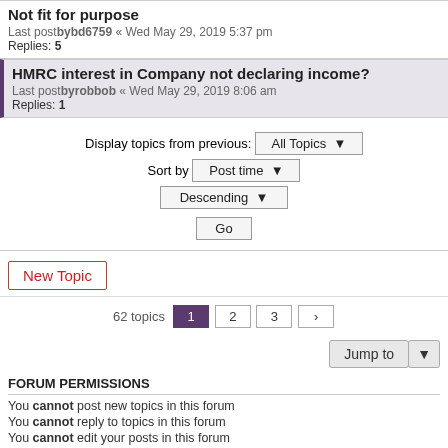Not fit for purpose
Last postbybd6759 « Wed May 29, 2019 5:37 pm
Replies: 5
HMRC interest in Company not declaring income?
Last postbyrobbob « Wed May 29, 2019 8:06 am
Replies: 1
Display topics from previous: All Topics ▼
Sort by Post time ▼
Descending ▼
Go
New Topic
62 topics 1 2 3 ›
Jump to
FORUM PERMISSIONS
You cannot post new topics in this forum
You cannot reply to topics in this forum
You cannot edit your posts in this forum
You cannot delete your posts in this forum
Board index   The team   ≡
Powered by phpBB® Forum Software © phpBB Limited